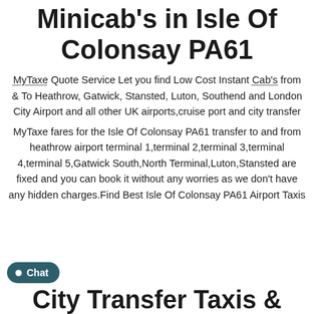Minicab's in Isle Of Colonsay PA61
MyTaxe Quote Service Let you find Low Cost Instant Cab's from & To Heathrow, Gatwick, Stansted, Luton, Southend and London City Airport and all other UK airports,cruise port and city transfer
MyTaxe fares for the Isle Of Colonsay PA61 transfer to and from heathrow airport terminal 1,terminal 2,terminal 3,terminal 4,terminal 5,Gatwick South,North Terminal,Luton,Stansted are fixed and you can book it without any worries as we don't have any hidden charges.Find Best Isle Of Colonsay PA61 Airport Taxis
City Transfer Taxis &